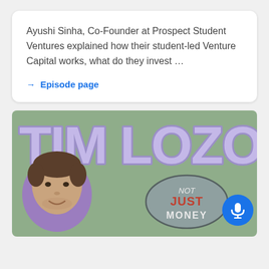Ayushi Sinha, Co-Founder at Prospect Student Ventures explained how their student-led Venture Capital works, what do they invest …
→ Episode page
[Figure (illustration): Podcast artwork showing 'TIM LOZOTT' in large purple bubbly letters on a green background, with a man's headshot in a purple circular frame on the left, and a speech bubble on the right reading 'NOT JUST MONEY'. A blue microphone button appears in the bottom right corner.]